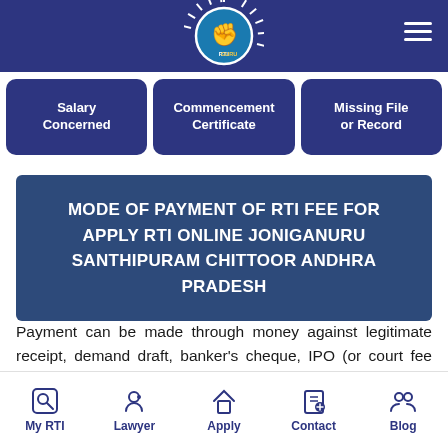RTI GURU
Salary Concerned
Commencement Certificate
Missing File or Record
MODE OF PAYMENT OF RTI FEE FOR APPLY RTI ONLINE JONIGANURU SANTHIPURAM CHITTOOR ANDHRA PRADESH
Payment can be made through money against legitimate receipt, demand draft, banker's cheque, IPO (or court fee stamp) payable to the PIO, Or to the
My RTI  Lawyer  Apply  Contact  Blog